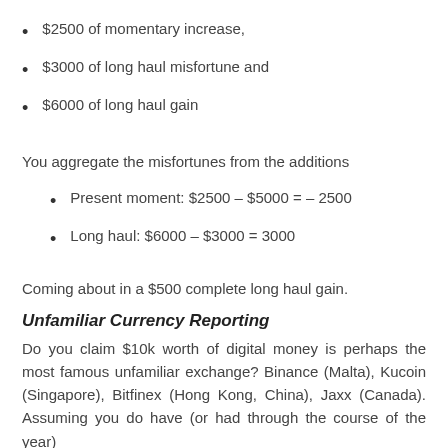$2500 of momentary increase,
$3000 of long haul misfortune and
$6000 of long haul gain
You aggregate the misfortunes from the additions
Present moment: $2500 – $5000 = – 2500
Long haul: $6000 – $3000 = 3000
Coming about in a $500 complete long haul gain.
Unfamiliar Currency Reporting
Do you claim $10k worth of digital money is perhaps the most famous unfamiliar exchange? Binance (Malta), Kucoin (Singapore), Bitfinex (Hong Kong, China), Jaxx (Canada). Assuming you do have (or had through the course of the year)